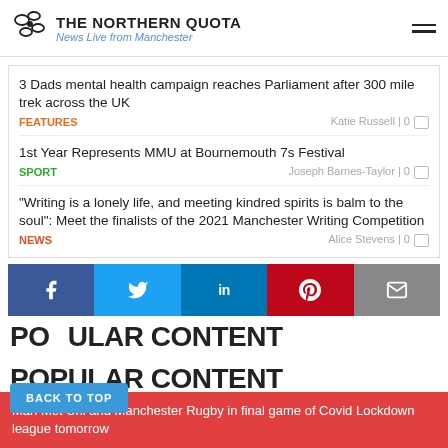THE NORTHERN QUOTA — News Live from Manchester
3 Dads mental health campaign reaches Parliament after 300 mile trek across the UK | FEATURES | Katie Russell | 0
1st Year Represents MMU at Bournemouth 7s Festival | SPORT | Joseph Barnes-Taylor | 0
"Writing is a lonely life, and meeting kindred spirits is balm to the soul": Meet the finalists of the 2021 Manchester Writing Competition | NEWS | Alice Stevens | 0
[Figure (infographic): Social media share buttons: Facebook (dark blue), Twitter (light blue), LinkedIn (blue), Pinterest (red), Email (grey)]
POPULAR CONTENT
BACK TO TOP
Man Met Uni and Manchester Rugby in final game of Covid Lockdown league tomorrow